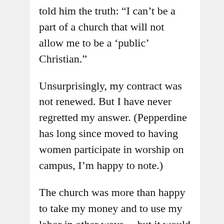told him the truth: “I can’t be a part of a church that will not allow me to be a ‘public’ Christian.”
Unsurprisingly, my contract was not renewed. But I have never regretted my answer. (Pepperdine has long since moved to having women participate in worship on campus, I’m happy to note.)
The church was more than happy to take my money and to use my labor in other ways —but it would not so much as